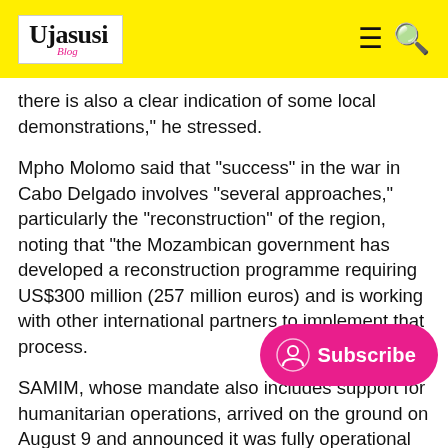Ujasusi Blog
there is also a clear indication of some local demonstrations," he stressed.
Mpho Molomo said that "success" in the war in Cabo Delgado involves "several approaches," particularly the "reconstruction" of the region, noting that "the Mozambican government has developed a reconstruction programme requiring US$300 million (257 million euros) and is working with other international partners to implement that process.
SAMIM, whose mandate also includes support for humanitarian operations, arrived on the ground on August 9 and announced it was fully operational on September 3.
"Around 800,000 people have been humanitarian situation is catastrophic and the action of foreign military forces has been instrumental in stabilising